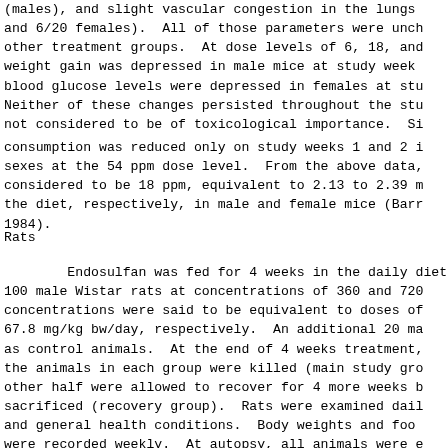(males), and slight vascular congestion in the lungs and 6/20 females).  All of those parameters were unchanged in other treatment groups.  At dose levels of 6, 18, and weight gain was depressed in male mice at study week blood glucose levels were depressed in females at study. Neither of these changes persisted throughout the study not considered to be of toxicological importance.  Si
consumption was reduced only on study weeks 1 and 2 in both sexes at the 54 ppm dose level.  From the above data, the NOAEL considered to be 18 ppm, equivalent to 2.13 to 2.39 mg/kg bw/day in the diet, respectively, in male and female mice (Barr et al., 1984).
Rats
Endosulfan was fed for 4 weeks in the daily diet of 100 male Wistar rats at concentrations of 360 and 720 ppm. These concentrations were said to be equivalent to doses of about 67.8 mg/kg bw/day, respectively.  An additional 20 male rats served as control animals.  At the end of 4 weeks treatment, half of the animals in each group were killed (main study group) and other half were allowed to recover for 4 more weeks before being sacrificed (recovery group).  Rats were examined daily for signs and general health conditions.  Body weights and food consumption were recorded weekly.  At autopsy, all animals were examined grossly, and the relative weights of three organs (liver, kidney, brain) were calculated.  Histological exams were performed on left kidney, and a piece of liver from six animals/dose group, right liver, another piece of liver and the brain from